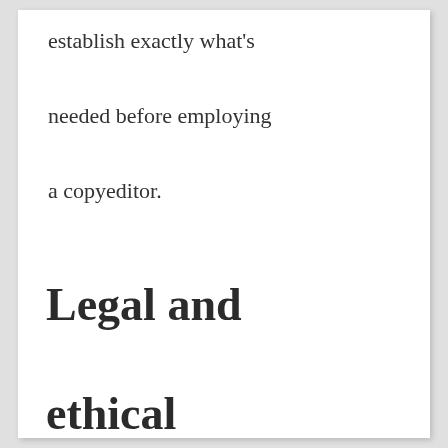establish exactly what's needed before employing a copyeditor.
Legal and ethical matters